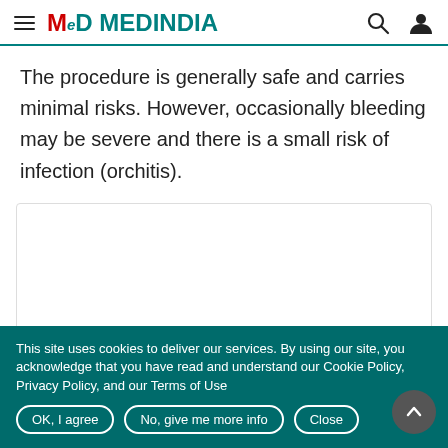MEDINDIA
The procedure is generally safe and carries minimal risks. However, occasionally bleeding may be severe and there is a small risk of infection (orchitis).
[Figure (other): Advertisement box placeholder with border]
This site uses cookies to deliver our services. By using our site, you acknowledge that you have read and understand our Cookie Policy, Privacy Policy, and our Terms of Use